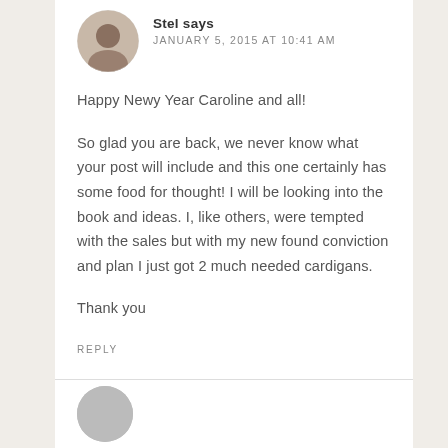[Figure (photo): Circular avatar photo of a person with brown hair]
Stel says
JANUARY 5, 2015 AT 10:41 AM
Happy Newy Year Caroline and all!
So glad you are back, we never know what your post will include and this one certainly has some food for thought! I will be looking into the book and ideas. I, like others, were tempted with the sales but with my new found conviction and plan I just got 2 much needed cardigans.
Thank you
REPLY
[Figure (photo): Circular gray avatar placeholder for next comment author]